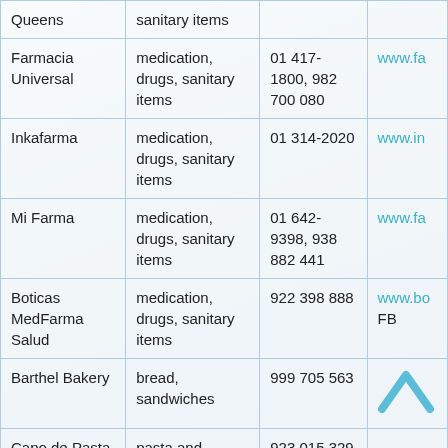| Name | Products | Phone | Website |
| --- | --- | --- | --- |
| Queens | sanitary items |  |  |
| Farmacia Universal | medication, drugs, sanitary items | 01 417-1800, 982 700 080 | www.fa |
| Inkafarma | medication, drugs, sanitary items | 01 314-2020 | www.in |
| Mi Farma | medication, drugs, sanitary items | 01 642-9398, 938 882 441 | www.fa |
| Boticas MedFarma Salud | medication, drugs, sanitary items | 922 398 888 | www.bo FB |
| Barthel Bakery | bread, sandwiches | 999 705 563 |  |
| Capo de Pasta | pasta and desserts | 923 015 329 |  |
| El Cacaotal | chocolate | 937 595 812 |  |